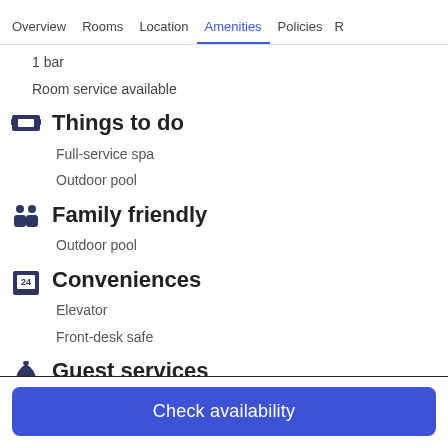Overview  Rooms  Location  Amenities  Policies  R
1 bar
Room service available
Things to do
Full-service spa
Outdoor pool
Family friendly
Outdoor pool
Conveniences
Elevator
Front-desk safe
Guest services
Check availability